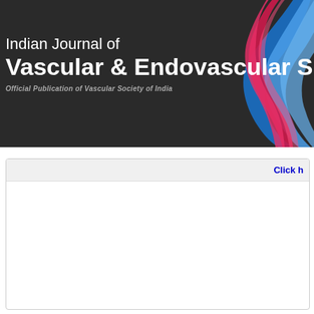[Figure (logo): Header banner for Indian Journal of Vascular & Endovascular Surgery with dark background and colorful swirl graphic on the right side]
Indian Journal of Vascular & Endovascular Surgery
Official Publication of Vascular Society of India
Click h